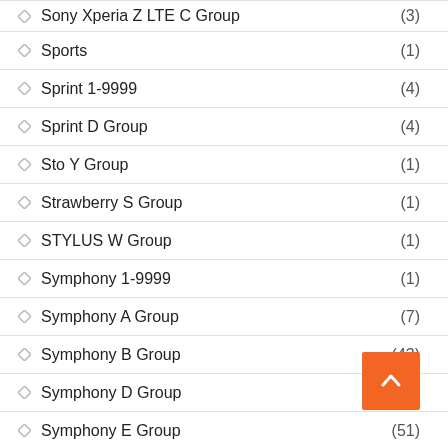Sony Xperia Z LTE C Group (3)
Sports (1)
Sprint 1-9999 (4)
Sprint D Group (4)
Sto Y Group (1)
Strawberry S Group (1)
STYLUS W Group (1)
Symphony 1-9999 (1)
Symphony A Group (7)
Symphony B Group (43)
Symphony D Group
Symphony E Group (51)